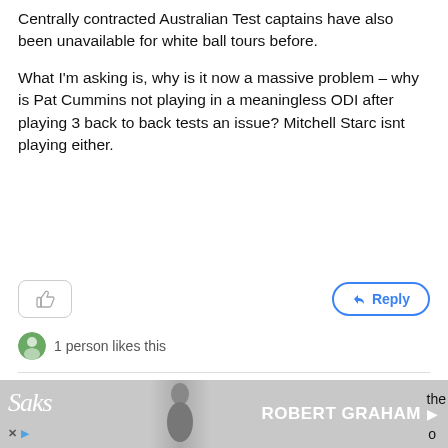Centrally contracted Australian Test captains have also been unavailable for white ball tours before.

What I'm asking is, why is it now a massive problem – why is Pat Cummins not playing in a meaningless ODI after playing 3 back to back tests an issue? Mitchell Starc isnt playing either.
[Figure (screenshot): Like button (thumbs up icon) and Reply button in blue outline]
1 person likes this
Jeff
Roar Rookie
April 8th 2022 @ 7:58am
Why is every ODI series always labelled by some as meaningless? They have meaning as ... the ... o
[Figure (screenshot): Advertisement banner: Saks Fifth Avenue and Robert Graham ad with CLOSE button]